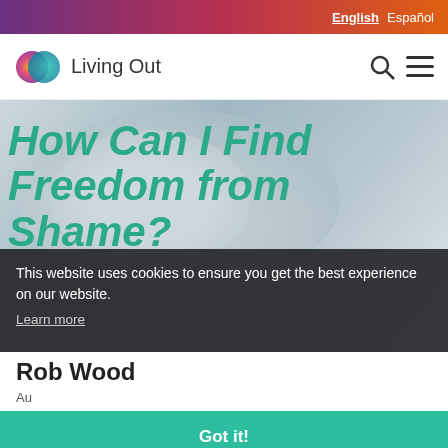English Español
[Figure (logo): Living Out website logo with overlapping circle icon in orange, pink, purple, teal gradient colors, and 'Living Out' text]
How Can I Find Freedom from Shame?
This website uses cookies to ensure you get the best experience on our website.
Learn more
Rob Wood
Got it!
Freedom from Shame Attention